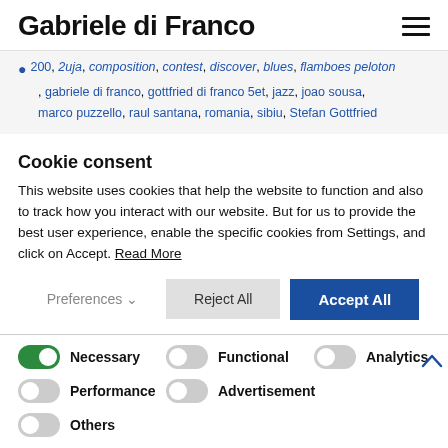Gabriele di Franco
200, 2uja, composition, contest, discover, blues, flamboes peloton, gabriele di franco, gottfried di franco 5et, jazz, joao sousa, marco puzzello, raul santana, romania, sibiu, Stefan Gottfried
Cookie consent
This website uses cookies that help the website to function and also to track how you interact with our website. But for us to provide the best user experience, enable the specific cookies from Settings, and click on Accept. Read More
Preferences | Reject All | Accept All
Necessary | Functional | Analytics | Performance | Advertisement | Others
Save my preferences